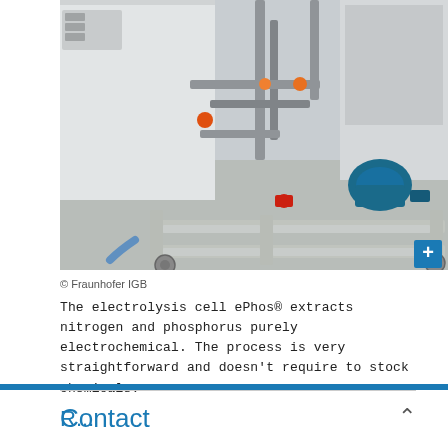[Figure (photo): Industrial electrolysis equipment (ePhos cell) on a wheeled metal frame with pipes, valves, and a blue electric pump motor. The apparatus sits on a concrete floor in a laboratory or industrial setting.]
© Fraunhofer IGB
The electrolysis cell ePhos® extracts nitrogen and phosphorus purely electrochemical. The process is very straightforward and doesn't require to stock chemicals.
Contact